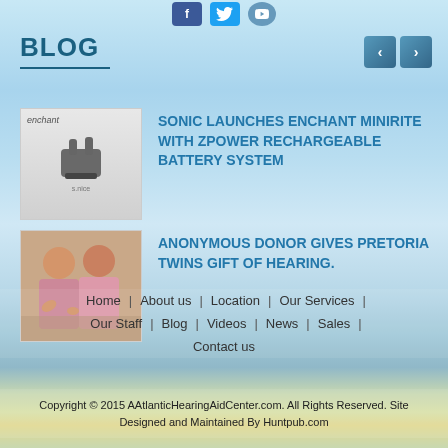[Figure (screenshot): Social media icons: Facebook, Twitter, YouTube at top center]
BLOG
[Figure (photo): Navigation arrows (left and right) in blue boxes]
[Figure (photo): Thumbnail image of enchant hearing aid product]
SONIC LAUNCHES ENCHANT MINIRITE WITH ZPOWER RECHARGEABLE BATTERY SYSTEM
[Figure (photo): Thumbnail photo of two twins smiling]
ANONYMOUS DONOR GIVES PRETORIA TWINS GIFT OF HEARING.
Home | About us | Location | Our Services | Our Staff | Blog | Videos | News | Sales | Contact us
Copyright © 2015 AAtlanticHearingAidCenter.com. All Rights Reserved. Site Designed and Maintained By Huntpub.com